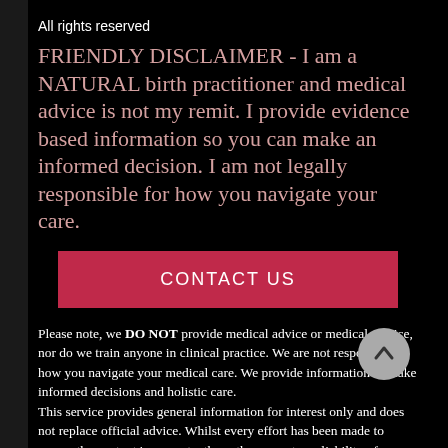All rights reserved
FRIENDLY DISCLAIMER - I am a NATURAL birth practitioner and medical advice is not my remit. I provide evidence based information so you can make an informed decision. I am not legally responsible for how you navigate your care.
[Figure (other): Red button labeled CONTACT US]
Please note, we DO NOT provide medical advice or medical service, nor do we train anyone in clinical practice. We are not responsible how you navigate your medical care. We provide information to make informed decisions and holistic care. This service provides general information for interest only and does not replace official advice. Whilst every effort has been made to ensure the content is accurate, the author accepts no liability of responsibility for any loss or damage caused or thought to be caused, by making choices based upon the contents of this site and recommends that